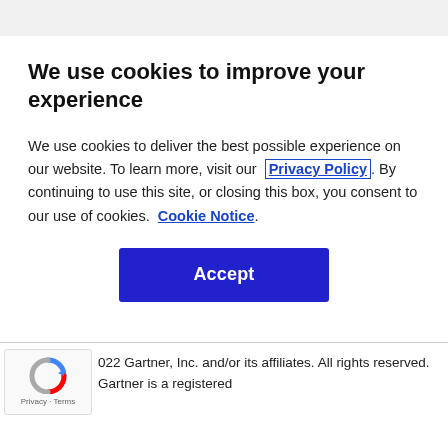We use cookies to improve your experience
We use cookies to deliver the best possible experience on our website. To learn more, visit our  Privacy Policy . By continuing to use this site, or closing this box, you consent to our use of cookies.  Cookie Notice .
[Figure (other): Blue Accept button]
[Figure (logo): reCAPTCHA logo with Privacy and Terms labels]
022 Gartner, Inc. and/or its affiliates. All rights reserved. Gartner is a registered